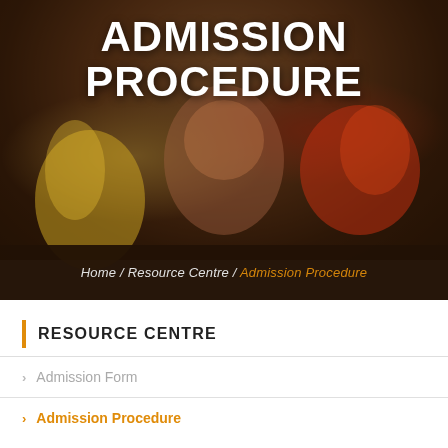[Figure (photo): Children with painted hands raised, used as hero banner background image for Admission Procedure page]
ADMISSION PROCEDURE
Home / Resource Centre / Admission Procedure
RESOURCE CENTRE
Admission Form
Admission Procedure